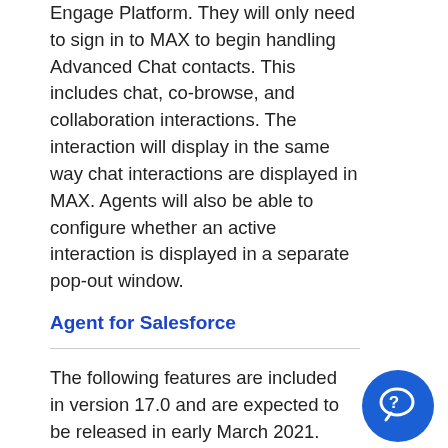Engage Platform. They will only need to sign in to MAX to begin handling Advanced Chat contacts. This includes chat, co-browse, and collaboration interactions. The interaction will display in the same way chat interactions are displayed in MAX. Agents will also be able to configure whether an active interaction is displayed in a separate pop-out window.
Agent for Salesforce
The following features are included in version 17.0 and are expected to be released in early March 2021.